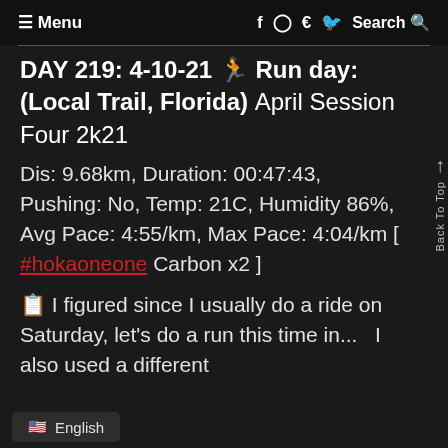≡ Menu   f ⊙ 🐦 Search 🔍
DAY 219: 4-10-21 🏃 Run day: (Local Trail, Florida) April Session Four 2k21
Dis: 9.68km, Duration: 00:47:43, Pushing: No, Temp: 21C, Humidity 86%, Avg Pace: 4:55/km, Max Pace: 4:04/km [ #hokaoneone Carbon x2 ]
📋 I figured since I usually do a ride on Saturday, let's do a run this time in... I also used a different